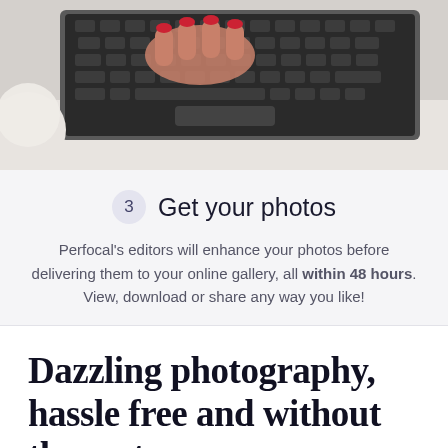[Figure (photo): Photo of a woman's hand with red nail polish typing on a laptop keyboard, with a white coffee cup partially visible in the foreground, top-down view on a light surface.]
3  Get your photos
Perfocal's editors will enhance your photos before delivering them to your online gallery, all within 48 hours. View, download or share any way you like!
Dazzling photography, hassle free and without the cost